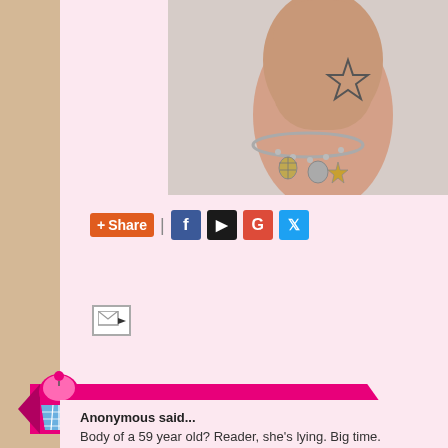[Figure (photo): A wrist with a star tattoo outline and a silver charm bracelet with seashell, starfish, and coin charms, against a light background.]
[Figure (infographic): Share bar with orange +Share button, pipe separator, and social media icons for Facebook, bookmark, Google+, and Twitter.]
[Figure (infographic): Small email forward icon (envelope with arrow).]
[Figure (infographic): Pink ribbon banner with cupcake icon reading '30 COMMENTS:']
Anonymous said...
Body of a 59 year old? Reader, she's lying. Big time.